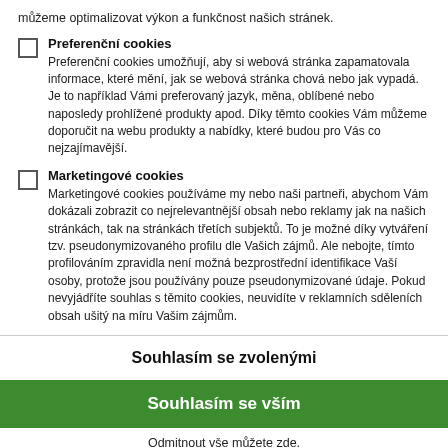můžeme optimalizovat výkon a funkčnost našich stránek.
Preferenční cookies — Preferenční cookies umožňují, aby si webová stránka zapamatovala informace, které mění, jak se webová stránka chová nebo jak vypadá. Je to například Vámi preferovaný jazyk, měna, oblíbené nebo naposledy prohlížené produkty apod. Díky těmto cookies Vám můžeme doporučit na webu produkty a nabídky, které budou pro Vás co nejzajímavější.
Marketingové cookies — Marketingové cookies používáme my nebo naši partneři, abychom Vám dokázali zobrazit co nejrelevantnější obsah nebo reklamy jak na našich stránkách, tak na stránkách třetích subjektů. To je možné díky vytváření tzv. pseudonymizovaného profilu dle Vašich zájmů. Ale nebojte, tímto profilováním zpravidla není možná bezprostřední identifikace Vaší osoby, protože jsou používány pouze pseudonymizované údaje. Pokud nevyjádříte souhlas s těmito cookies, neuvidíte v reklamních sděleních obsah ušitý na míru Vašim zájmům.
Souhlasím se zvolenými
Souhlasím se vším
Odmitnout vše můžete zde.